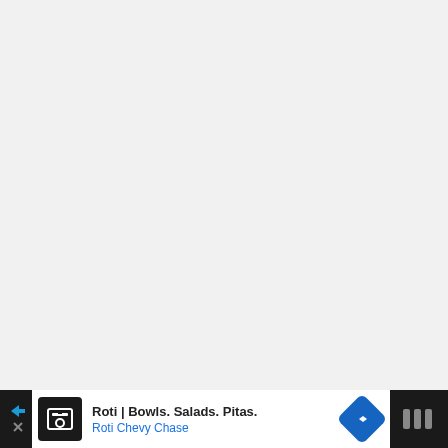[Figure (screenshot): Large blank light gray area occupying the upper portion of the page]
[Figure (infographic): Advertisement banner at the bottom: black sidebar with play/close arrows on left, white content area with Roti restaurant icon, text 'Roti | Bowls. Salads. Pitas.' and 'Roti Chevy Chase' in blue, blue diamond navigation icon, and dark right panel with Waze-style logo]